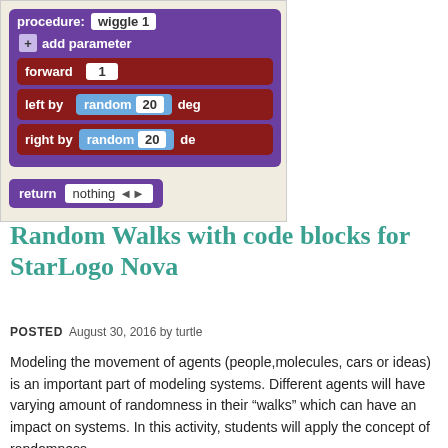[Figure (screenshot): Screenshot of StarLogo Nova block code interface showing a 'wiggle' procedure with 'add parameter' row, 'forward 1' command block, 'left by random 20 degrees' block, 'right by random 20 degrees' block, and a 'return nothing' block at the bottom. Purple and dark red color scheme.]
Random Walks with code blocks for StarLogo Nova
POSTED August 30, 2016 by turtle
Modeling the movement of agents (people,molecules, cars or ideas) is an important part of modeling systems. Different agents will have varying amount of randomness in their “walks” which can have an impact on systems. In this activity, students will apply the concept of randomness